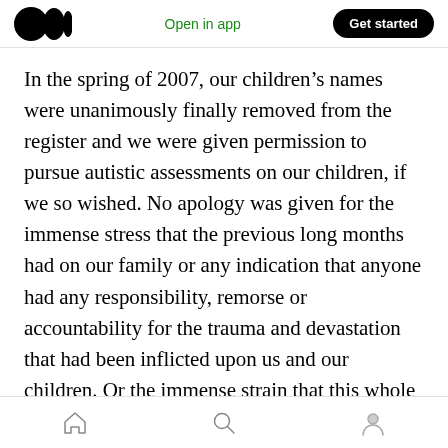Open in app | Get started
In the spring of 2007, our children's names were unanimously finally removed from the register and we were given permission to pursue autistic assessments on our children, if we so wished. No apology was given for the immense stress that the previous long months had on our family or any indication that anyone had any responsibility, remorse or accountability for the trauma and devastation that had been inflicted upon us and our children. Or the immense strain that this whole process had placed on our
Home | Search | Profile